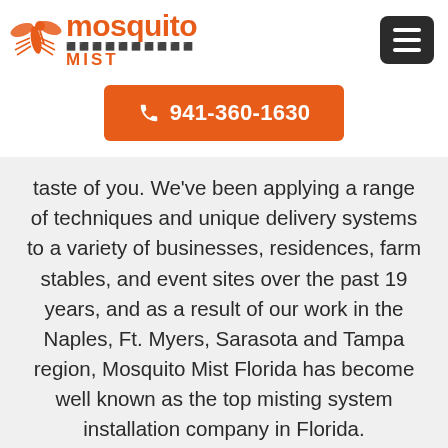[Figure (logo): Mosquito Mist logo with orange mosquito icon and orange text 'mosquito MIST' with dot pattern]
[Figure (other): Dark hamburger menu button (three horizontal bars) on dark background, rounded corners]
☎ 941-360-1630
taste of you. We've been applying a range of techniques and unique delivery systems to a variety of businesses, residences, farm stables, and event sites over the past 19 years, and as a result of our work in the Naples, Ft. Myers, Sarasota and Tampa region, Mosquito Mist Florida has become well known as the top misting system installation company in Florida.